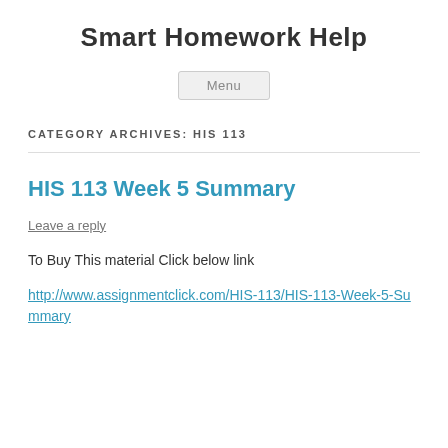Smart Homework Help
Menu
CATEGORY ARCHIVES: HIS 113
HIS 113 Week 5 Summary
Leave a reply
To Buy This material Click below link
http://www.assignmentclick.com/HIS-113/HIS-113-Week-5-Summary